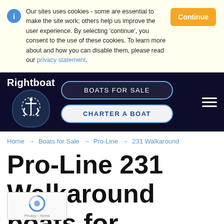Our sites uses cookies - some are essential to make the site work; others help us improve the user experience. By selecting 'continue', you consent to the use of these cookies. To learn more about and how you can disable them, please read our privacy statement.
Rightboat | BOATS FOR SALE | CHARTER A BOAT
Home → Boats for Sale → Pro-Line → 231 Walkaround
Pro-Line 231 Walkaround boats for sale